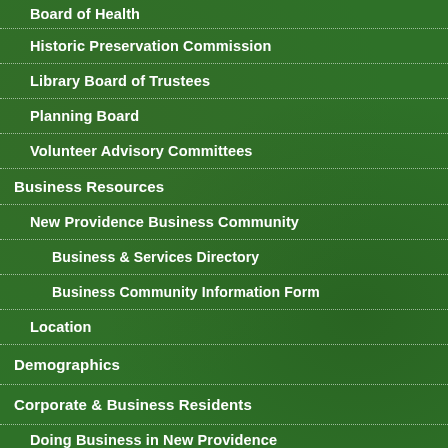Board of Health
Historic Preservation Commission
Library Board of Trustees
Planning Board
Volunteer Advisory Committees
Business Resources
New Providence Business Community
Business & Services Directory
Business Community Information Form
Location
Demographics
Corporate & Business Residents
Doing Business in New Providence